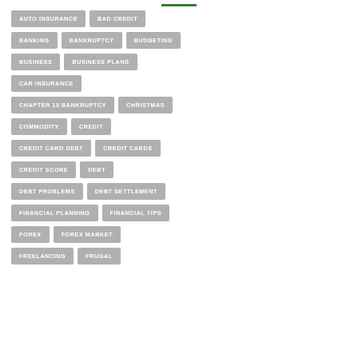AUTO INSURANCE
BAD CREDIT
BANKING
BANKRUPTCY
BUDGETING
BUSINESS
BUSINESS PLANS
CAR INSURANCE
CHAPTER 13 BANKRUPTCY
CHRISTMAS
COMMODITY
CREDIT
CREDIT CARD DEBT
CREDIT CARDS
CREDIT SCORE
DEBT
DEBT PROBLEMS
DEBT SETTLEMENT
FINANCIAL PLANNING
FINANCIAL TIPS
FOREX
FOREX MARKET
FREELANCING
FRUGAL